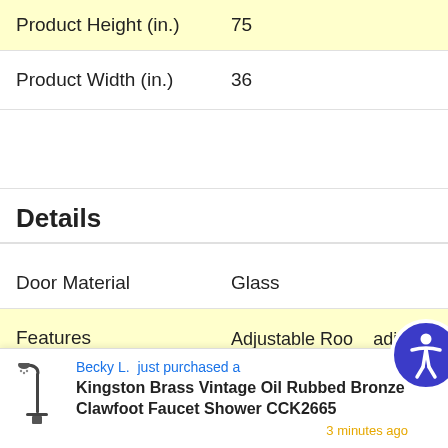|  |  |
| --- | --- |
| Product Height (in.) | 75 |
| Product Width (in.) | 36 |
Details
|  |  |
| --- | --- |
| Door Material | Glass |
| Features | Adjustable Rod, Adj Temperature, Assembly R in Bench, Built-in Cup Ho Lighting, Built-in Sound S |
| Finish | Brown/Tan |
Becky L. just purchased a Kingston Brass Vintage Oil Rubbed Bronze Clawfoot Faucet Shower CCK2665 — 3 minutes ago